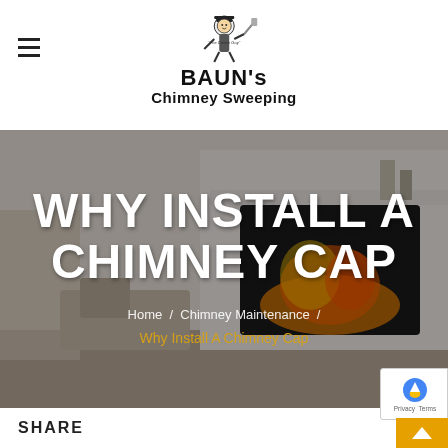[Figure (logo): BAUN's Chimney Sweeping logo with cartoon chimney sweep illustration and text 'The Danish Guy']
WHY INSTALL A CHIMNEY CAP
Home / Chimney Maintenance / Why Install A Chimney Cap
SHARE